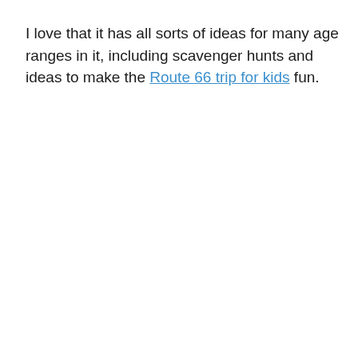I love that it has all sorts of ideas for many age ranges in it, including scavenger hunts and ideas to make the Route 66 trip for kids fun.